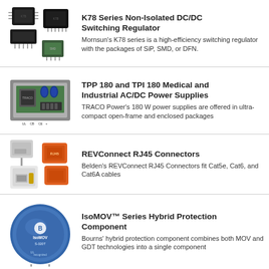[Figure (photo): K78 series DC/DC switching regulator modules in SiP, SMD, and DFN packages - multiple small black IC chips]
K78 Series Non-Isolated DC/DC Switching Regulator
Mornsun's K78 series is a high-efficiency switching regulator with the packages of SiP, SMD, or DFN.
[Figure (photo): TPP 180 and TPI 180 medical and industrial AC/DC power supply units in open-frame and enclosed packages]
TPP 180 and TPI 180 Medical and Industrial AC/DC Power Supplies
TRACO Power's 180 W power supplies are offered in ultra-compact open-frame and enclosed packages
[Figure (photo): REVConnect RJ45 connectors in orange and white/grey colors fitting Cat5e, Cat6, and Cat6A cables]
REVConnect RJ45 Connectors
Belden's REVConnect RJ45 Connectors fit Cat5e, Cat6, and Cat6A cables
[Figure (photo): IsoMOV Series blue disc hybrid protection component by Bourns combining MOV and GDT technologies]
IsoMOV™ Series Hybrid Protection Component
Bourns' hybrid protection component combines both MOV and GDT technologies into a single component